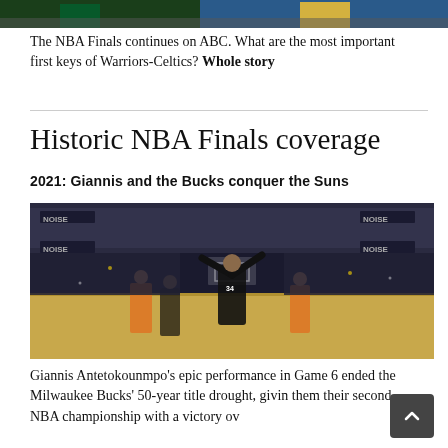[Figure (photo): Cropped top portion of a photo showing NBA players from the Warriors and Celtics teams]
The NBA Finals continues on ABC. What are the most important first keys of Warriors-Celtics? Whole story
Historic NBA Finals coverage
2021: Giannis and the Bucks conquer the Suns
[Figure (photo): Giannis Antetokounmpo celebrating with arms raised at center court after the Milwaukee Bucks won the NBA championship, surrounded by fans and players]
Giannis Antetokounmpo's epic performance in Game 6 ended the Milwaukee Bucks' 50-year title drought, givin them their second NBA championship with a victory ov